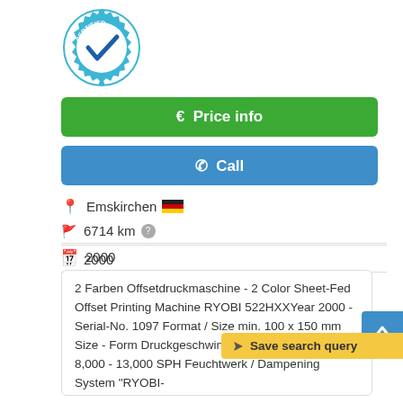[Figure (logo): Certified Dealer badge/seal — teal gear shape with checkmark and text CERTIFIED DEALER]
€ Price info
✆ Call
Emskirchen 🇩🇪
6714 km ?
2000
used
2 Farben Offsetdruckmaschine - 2 Color Sheet-Fed Offset Printing Machine RYOBI 522HXXYear 2000 - Serial-No. 1097 Format / Size min. 100 x 150 mm Size - Form Druckgeschwindigkeit / Speed max. 8,000 - 13,000 SPH Feuchtwerk / Dampening System "RYOBI-
Save search query